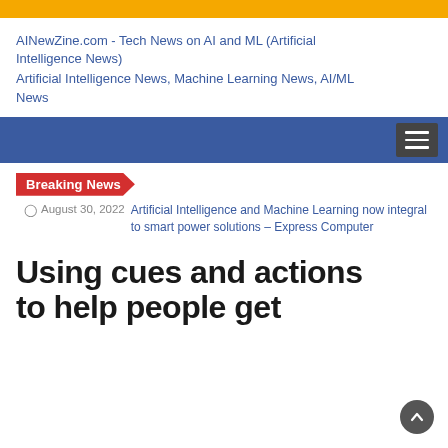AINewZine.com - Tech News on AI and ML (Artificial Intelligence News)
Artificial Intelligence News, Machine Learning News, AI/ML News
Breaking News
August 30, 2022  Artificial Intelligence and Machine Learning now integral to smart power solutions – Express Computer
Using cues and actions to help people get